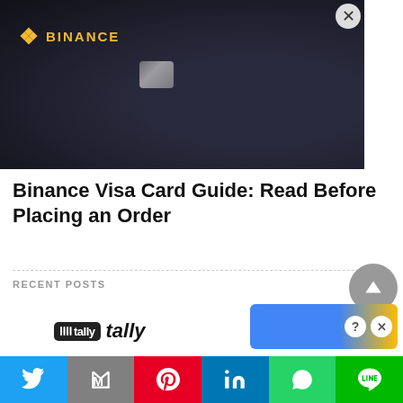[Figure (photo): Dark Binance Visa card with gold Binance logo and diamond symbol icon, with a card chip visible, dark patterned background]
Binance Visa Card Guide: Read Before Placing an Order
RECENT POSTS
[Figure (logo): Tally app logo with barcode icon]
[Figure (other): Advertisement overlay with blue/yellow background, question mark and X close button]
Twitter | Gmail | Pinterest | LinkedIn | WhatsApp | LINE (social share bar)